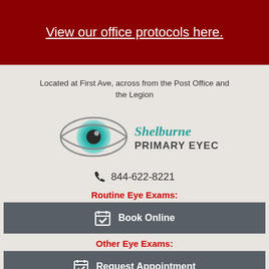View our office protocols here.
Located at First Ave, across from the Post Office and the Legion
[Figure (logo): Shelburne Primary Eyecare logo with teal eye graphic and stylized text]
844-622-8221
Routine Eye Exams:
Book Online
Other Eye Exams:
Request Appointment